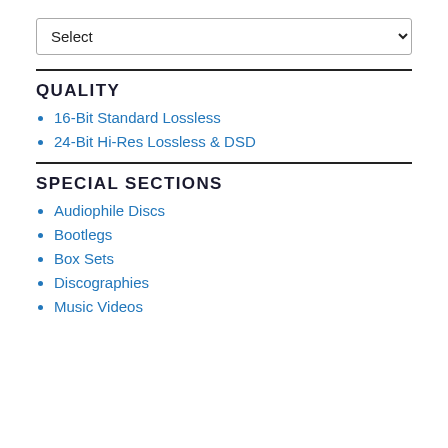Select
QUALITY
16-Bit Standard Lossless
24-Bit Hi-Res Lossless & DSD
SPECIAL SECTIONS
Audiophile Discs
Bootlegs
Box Sets
Discographies
Music Videos